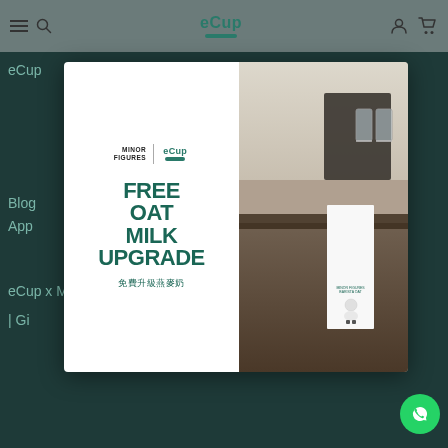eCup navigation bar with hamburger menu, search, logo, account and cart icons
[Figure (screenshot): eCup website screenshot showing a popup modal over a dark green background. The modal has two panels: left panel is white with Minor Figures | eCup logos and promotional text FREE OAT MILK UPGRADE / 免費升級燕麥奶 in dark teal; right panel shows a photo of an espresso machine with a Minor Figures oat milk carton. Background shows partial nav menu items: eCup, Blog, App, eCup x M..., | Gi... A green WhatsApp button appears at bottom right.]